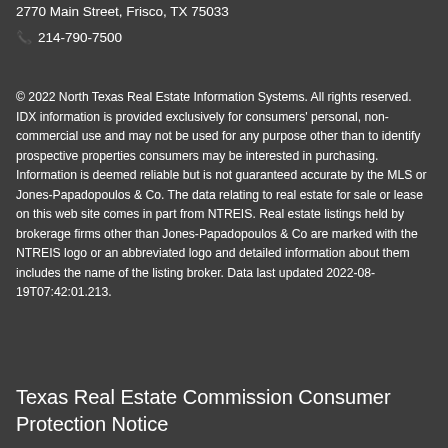2770 Main Street, Frisco, TX 75033
📞 214-790-7500
© 2022 North Texas Real Estate Information Systems. All rights reserved. IDX information is provided exclusively for consumers' personal, non-commercial use and may not be used for any purpose other than to identify prospective properties consumers may be interested in purchasing. Information is deemed reliable but is not guaranteed accurate by the MLS or Jones-Papadopoulos & Co. The data relating to real estate for sale or lease on this web site comes in part from NTREIS. Real estate listings held by brokerage firms other than Jones-Papadopoulos & Co are marked with the NTREIS logo or an abbreviated logo and detailed information about them includes the name of the listing broker. Data last updated 2022-08-19T07:42:01.213.
Texas Real Estate Commission Consumer Protection Notice